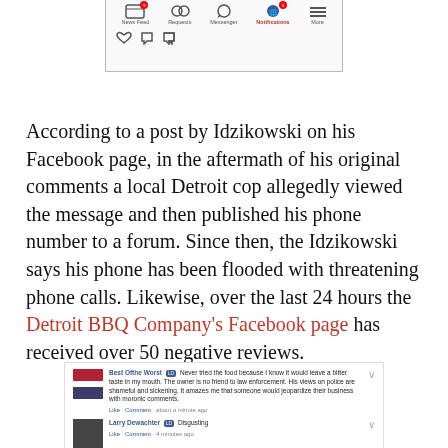[Figure (screenshot): Facebook navigation bar screenshot showing News Feed, Requests, Messenger, Notifications icons with red notification badges, and a More icon, plus reaction icons below]
According to a post by Idzikowski on his Facebook page, in the aftermath of his original comments a local Detroit cop allegedly viewed the message and then published his phone number to a forum. Since then, the Idzikowski says his phone has been flooded with threatening phone calls. Likewise, over the last 24 hours the Detroit BBQ Company's Facebook page has received over 50 negative reviews.
[Figure (screenshot): Facebook comments section showing two comments: one by 'Best Ofthe Worst' saying they never tried the food because it would leave a bitter taste, and one by 'Larry Dewachter' saying 'Disgusting']